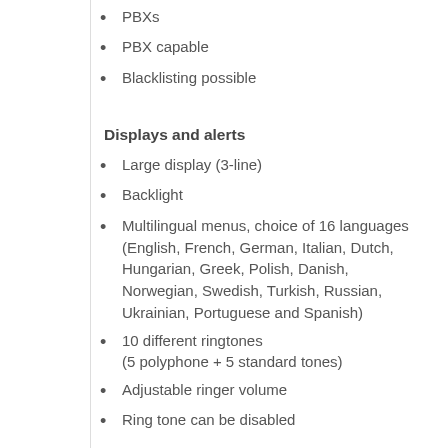PBXs
PBX capable
Blacklisting possible
Displays and alerts
Large display (3-line)
Backlight
Multilingual menus, choice of 16 languages (English, French, German, Italian, Dutch, Hungarian, Greek, Polish, Danish, Norwegian, Swedish, Turkish, Russian, Ukrainian, Portuguese and Spanish)
10 different ringtones (5 polyphone + 5 standard tones)
Adjustable ringer volume
Ring tone can be disabled